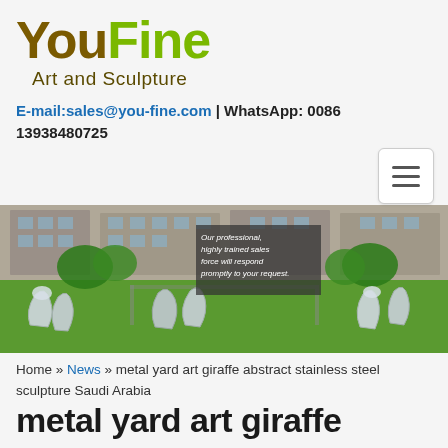[Figure (logo): YouFine Art and Sculpture logo with 'You' in dark brown and 'Fine' in green, with 'Art and Sculpture' subtitle]
E-mail:sales@you-fine.com | WhatsApp: 0086 13938480725
[Figure (photo): Banner photo showing stainless steel abstract giraffe sculptures on green grass in front of a building, with overlay text: 'Our professional, highly trained sales force will respond promptly to your request.']
Home » News » metal yard art giraffe abstract stainless steel sculpture Saudi Arabia
metal yard art giraffe abstract stainless steel sculpture Saudi